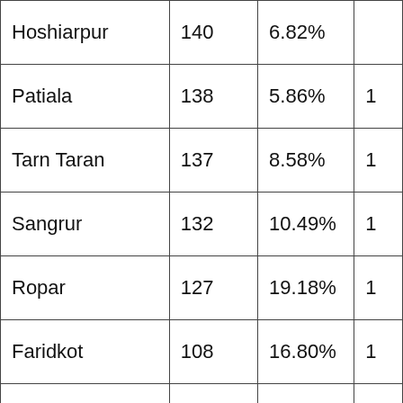| Hoshiarpur | 140 | 6.82% |  |
| Patiala | 138 | 5.86% | 1 |
| Tarn Taran | 137 | 8.58% | 1 |
| Sangrur | 132 | 10.49% | 1 |
| Ropar | 127 | 19.18% | 1 |
| Faridkot | 108 | 16.80% | 1 |
| Moga | 77 | 5.80% | 7 |
| FG Sahib | 68 | 14.26% | 6 |